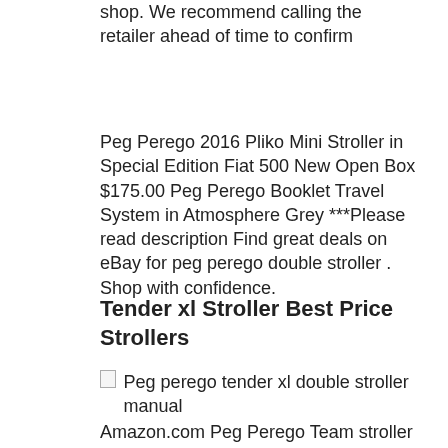shop. We recommend calling the retailer ahead of time to confirm
Peg Perego 2016 Pliko Mini Stroller in Special Edition Fiat 500 New Open Box $175.00 Peg Perego Booklet Travel System in Atmosphere Grey ***Please read description Find great deals on eBay for peg perego double stroller . Shop with confidence.
Tender xl Stroller Best Price Strollers
[Figure (photo): Broken image placeholder with alt text: Peg perego tender xl double stroller manual]
Amazon.com Peg Perego Team stroller